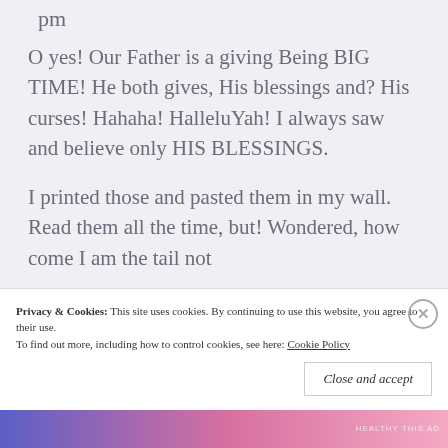pm
O yes! Our Father is a giving Being BIG TIME! He both gives, His blessings and? His curses! Hahaha! HalleluYah! I always saw and believe only HIS BLESSINGS.
I printed those and pasted them in my wall. Read them all the time, but! Wondered, how come I am the tail not
Privacy & Cookies: This site uses cookies. By continuing to use this website, you agree to their use. To find out more, including how to control cookies, see here: Cookie Policy
Close and accept